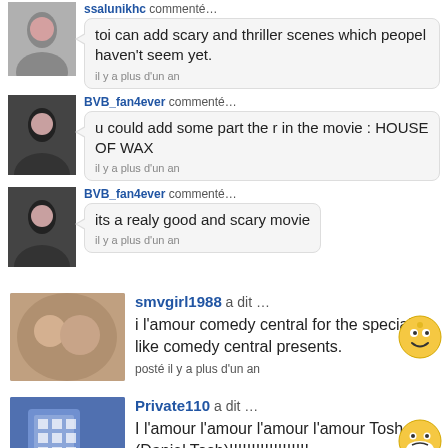ssalunikhc commenté... toi can add scary and thriller scenes which peopel haven't seem yet. il y a plus d'un an
BVB_fan4ever commenté... u could add some part the r in the movie : HOUSE OF WAX il y a plus d'un an
BVB_fan4ever commenté... its a realy good and scary movie il y a plus d'un an
smvgirl1988 a dit ... i l'amour comedy central for the specials like comedy central presents. posté il y a plus d'un an
Private110 a dit ... I l'amour l'amour l'amour l'amour Tosh.o (Daniel Tosh)!!!!!!!!!!!!!!!!!!!